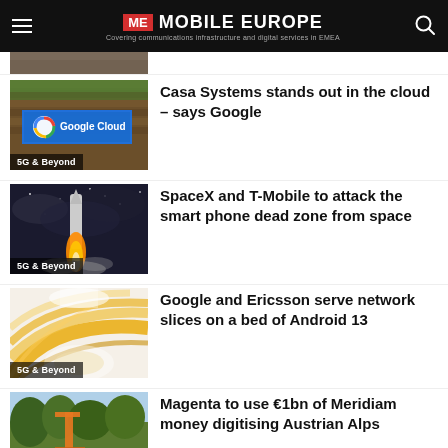MOBILE EUROPE — Covering communications infrastructure and digital services in EMEA
[Figure (photo): Partially visible article thumbnail (cropped at top)]
[Figure (photo): Google Cloud sign/building exterior with trees. Tag: 5G & Beyond]
Casa Systems stands out in the cloud – says Google
[Figure (photo): Rocket launch at night. Tag: 5G & Beyond]
SpaceX and T-Mobile to attack the smart phone dead zone from space
[Figure (photo): Abstract architectural interior with yellow/gold curved lines. Tag: 5G & Beyond]
Google and Ericsson serve network slices on a bed of Android 13
[Figure (photo): Outdoor construction/digging scene with trees. Tag: (implied)]
Magenta to use €1bn of Meridiam money digitising Austrian Alps